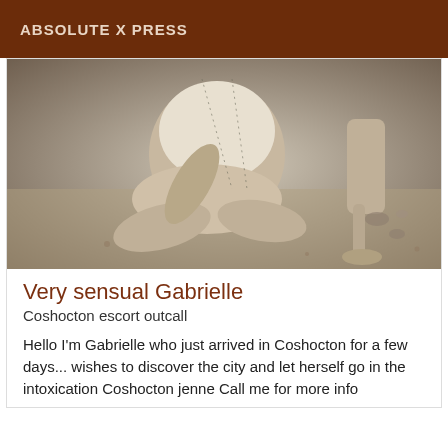ABSOLUTE X PRESS
[Figure (photo): Black and white photograph of a woman sitting cross-legged on a sandy beach, wearing a white top and shorts, viewed from the side without showing her face.]
Very sensual Gabrielle
Coshocton escort outcall
Hello I'm Gabrielle who just arrived in Coshocton for a few days... wishes to discover the city and let herself go in the intoxication Coshocton jenne Call me for more info